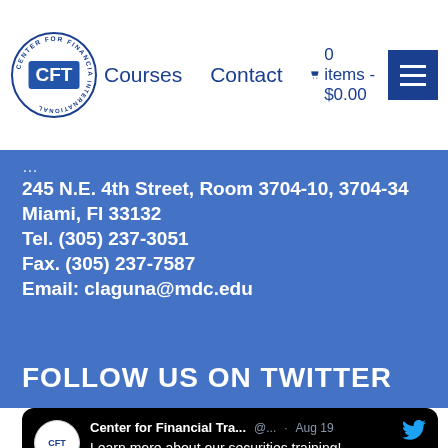CFT Courses | Contact | 0 items - $0.00
245 N.E. 4th Street, Room 3704-10, 3704-34
Miami, Fl 33132
Tel. (305) 237-3051
Fax. (305) 237-7587
Email: claguna@mdc.edu
FOLLOW US ON TWITTER
[Figure (screenshot): Twitter/X card showing Center for Financial Tra... @... · Aug 19 tweet: 'Learn more about our securities training! conta.cc/3ST6DDZ conta.cc/3dHtL8u']